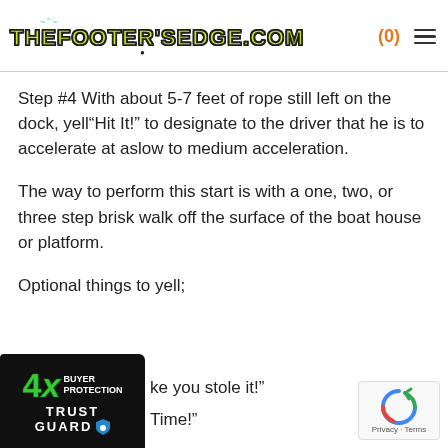thefootersedge.com (0)
Step #4 With about 5-7 feet of rope still left on the dock, yell“Hit It!” to designate to the driver that he is to accelerate at aslow to medium acceleration.
The way to perform this start is with a one, two, or three step brisk walk off the surface of the boat house or platform.
Optional things to yell;
“ke you stole it!”
Time!”
[Figure (logo): 4X Buyer Protection Trust Guard badge, black background with green 4X text and white text]
[Figure (logo): reCAPTCHA privacy badge with circular arrow icon, Privacy - Terms text]